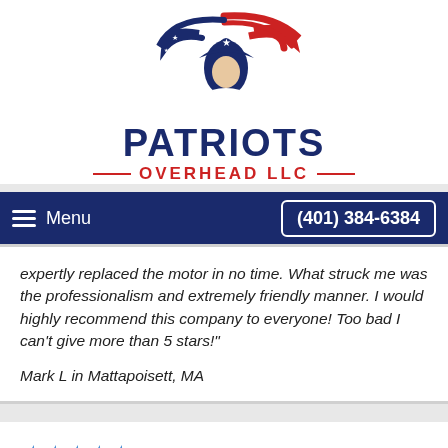[Figure (logo): Patriots Overhead LLC logo with patriot soldier in tricorn hat with American flag elements, red white and blue color scheme]
≡ Menu   (401) 384-6384
expertly replaced the motor in no time. What struck me was the professionalism and extremely friendly manner. I would highly recommend this company to everyone! Too bad I can't give more than 5 stars!"
Mark L in Mattapoisett, MA
★★★★★ - "I had some issues with my garage not shutting all the way, bad bearings, making a ton of